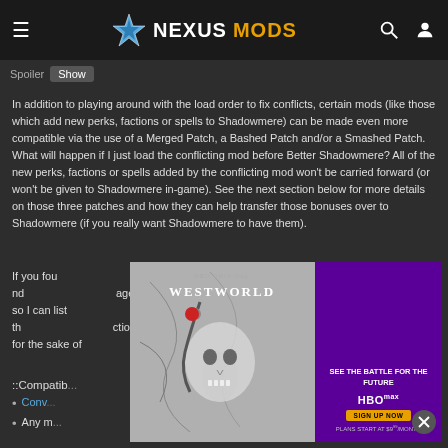NEXUSMODS
Spoiler | Show
In addition to playing around with the load order to fix conflicts, certain mods (like those which add new perks, factions or spells to Shadowmere) can be made even more compatible via the use of a Merged Patch, a Bashed Patch and/or a Smashed Patch. What will happen if I just load the conflicting mod before Better Shadowmere? All of the new perks, factions or spells added by the conflicting mod won't be carried forward (or won't be given to Shadowmere in-game). See the next section below for more details on those three patches and how they can help transfer those bonuses over to Shadowmere (if you really want Shadowmere to have them).
If you found ... age, so I can list th... ction for the sake d...
[Figure (advertisement): Westworld HBO Max advertisement with skull imagery on left and purple HBO Max promotional panel on right with 'SEE THE BATTLE FOR THE FUTURE' text and sign up button]
::Compatibility...
Conv...
Any m...